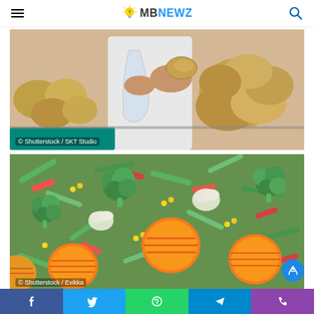MB NEWZ
[Figure (photo): Person holding a potato at a market produce stand with potatoes. Watermark: © Shutterstock / SKT Studio]
[Figure (photo): Frozen mixed vegetables including broccoli, carrots, green beans, corn, and red peppers. Watermark: © Shutterstock / Evikka]
Facebook | Twitter | WhatsApp | Telegram | Phone